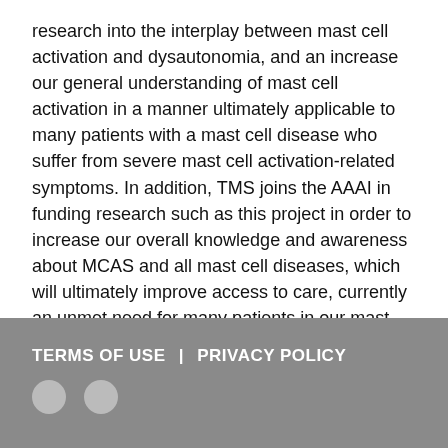research into the interplay between mast cell activation and dysautonomia, and an increase our general understanding of mast cell activation in a manner ultimately applicable to many patients with a mast cell disease who suffer from severe mast cell activation-related symptoms. In addition, TMS joins the AAAI in funding research such as this project in order to increase our overall knowledge and awareness about MCAS and all mast cell diseases, which will ultimately improve access to care, currently an unmet need for many patients in our mast cell disease community.
TERMS OF USE  |  PRIVACY POLICY